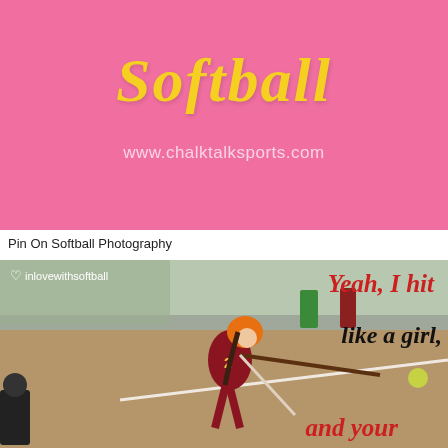[Figure (photo): Pink background promotional image with stylized cursive 'Softball' text in yellow and website URL www.chalktalksports.com in light text]
Pin On Softball Photography
[Figure (photo): Action photo of a softball batter (number 2, wearing orange helmet and maroon uniform) mid-swing at a softball game. Overlaid text reads: heart inlovewithsoftball, 'Yeah, I hit like a girl,' and 'and your' in red and black script fonts.]